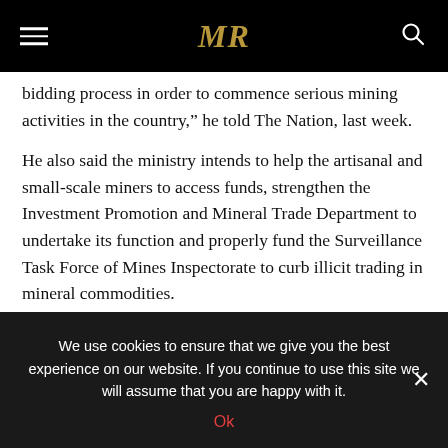MR
bidding process in order to commence serious mining activities in the country,” he told The Nation, last week.
He also said the ministry intends to help the artisanal and small-scale miners to access funds, strengthen the Investment Promotion and Mineral Trade Department to undertake its function and properly fund the Surveillance Task Force of Mines Inspectorate to curb illicit trading in mineral commodities.
The Permanent Secretary, Ministry of Mines and Steel Development, Dr. Abdulkadir Muazu, is no less excited by
We use cookies to ensure that we give you the best experience on our website. If you continue to use this site we will assume that you are happy with it.
Ok